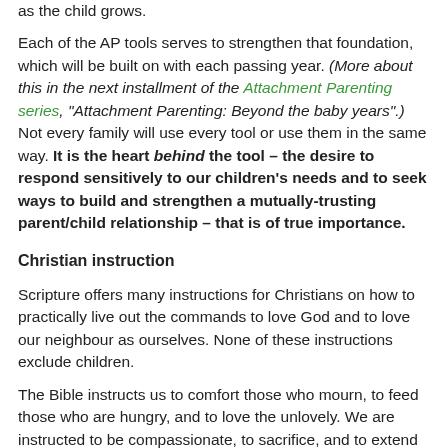as the child grows.
Each of the AP tools serves to strengthen that foundation, which will be built on with each passing year. (More about this in the next installment of the Attachment Parenting series, "Attachment Parenting: Beyond the baby years".) Not every family will use every tool or use them in the same way. It is the heart behind the tool – the desire to respond sensitively to our children's needs and to seek ways to build and strengthen a mutually-trusting parent/child relationship – that is of true importance.
Christian instruction
Scripture offers many instructions for Christians on how to practically live out the commands to love God and to love our neighbour as ourselves. None of these instructions exclude children.
The Bible instructs us to comfort those who mourn, to feed those who are hungry, and to love the unlovely. We are instructed to be compassionate, to sacrifice, and to extend